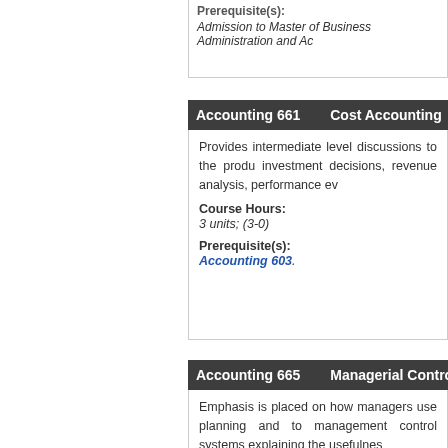Prerequisite(s):
Admission to Master of Business Administration and Ac
Accounting 661    Cost Accounting
Provides intermediate level discussions to the produ investment decisions, revenue analysis, performance ev
Course Hours:
3 units; (3-0)
Prerequisite(s):
Accounting 603.
Accounting 665    Managerial Control Systems
Emphasis is placed on how managers use planning and to management control systems explaining the usefulnes
Course Hours:
3 units; (3-0)
Prerequisite(s):
Accounting 661.
Also known as: